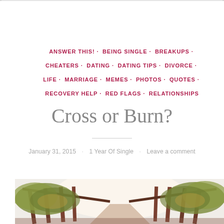ANSWER THIS! · BEING SINGLE · BREAKUPS · CHEATERS · DATING · DATING TIPS · DIVORCE · LIFE · MARRIAGE · MEMES · PHOTOS · QUOTES · RECOVERY HELP · RED FLAGS · RELATIONSHIPS
Cross or Burn?
January 31, 2015 · 1 Year Of Single · Leave a comment
[Figure (photo): A wooden bridge with green foliage visible on both sides, photographed from one end looking forward, with bright light in the background.]